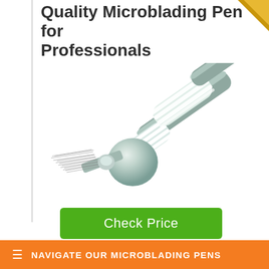Quality Microblading Pen for Professionals
[Figure (photo): Close-up product photo of a microblading pen showing the needle blade tip, metallic ball grip, and white coiled/threaded shaft against a white background]
Check Price
In order to maintain quality and
≡ NAVIGATE OUR MICROBLADING PENS